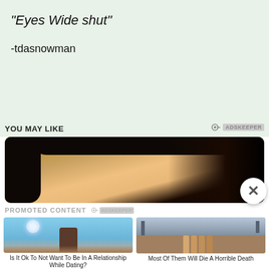“Eyes Wide shut”
-tdasnowman
YOU MAY LIKE
[Figure (photo): Close-up cropped photo of a woman's face with dark hair against dark background, showing forehead and hair]
PROMOTED CONTENT
[Figure (photo): Woman with arms raised looking at full moon in blue sky]
Is It Ok To Not Want To Be In A Relationship While Dating?
[Figure (photo): Group of young people standing in a street scene]
Most Of Them Will Die A Horrible Death